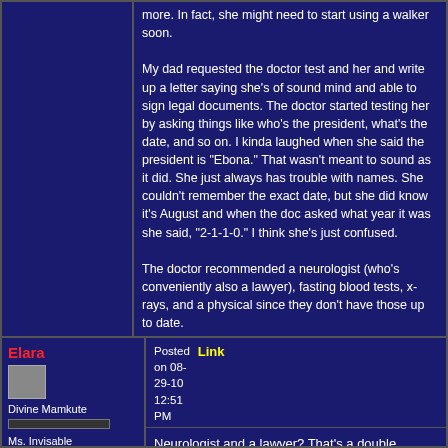more. In fact, she might need to start using a walker soon.

My dad requested the doctor test and her and write up a letter saying she's of sound mind and able to sign legal documents. The doctor started testing her by asking things like who's the president, what's the date, and so on. I kinda laughed when she said the president is "Ebona." That wasn't meant to sound as it did. She just always has trouble with names. She couldn't remember the exact date, but she did know it's August and when the doc asked what year it was she said, "2-1-1-0." I think she's just confused.

The doctor recommended a neurologist (who's conveniently also a lawyer), fasting blood tests, x-rays, and a physical since they don't have those up to date.
Elara
Divine Mamkute
Ms. Invisable
Level: 179
Posted on 08-29-10 12:51 PM
Link
Neurologist and a lawyer? That's a double whammy if I ever heard one.